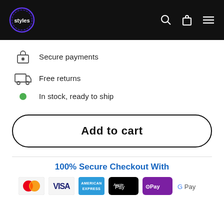Navigation header with logo, search, cart, and menu icons
Secure payments
Free returns
In stock, ready to ship
Add to cart
100% Secure Checkout With
[Figure (illustration): Payment method logos: Mastercard, Visa, American Express, Apple Pay, Samsung Pay, Google Pay]